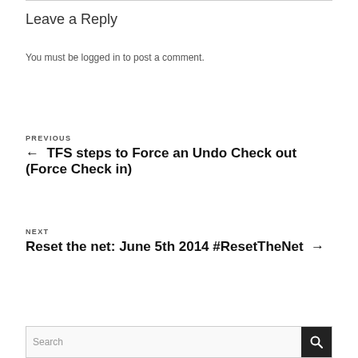Leave a Reply
You must be logged in to post a comment.
PREVIOUS
← TFS steps to Force an Undo Check out (Force Check in)
NEXT
Reset the net: June 5th 2014 #ResetTheNet →